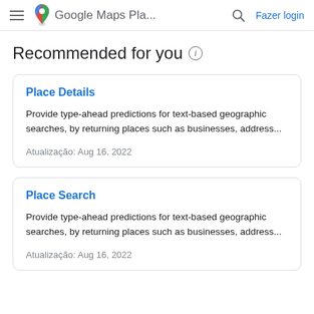Google Maps Pla...
Recommended for you
Place Details
Provide type-ahead predictions for text-based geographic searches, by returning places such as businesses, address...
Atualização: Aug 16, 2022
Place Search
Provide type-ahead predictions for text-based geographic searches, by returning places such as businesses, address...
Atualização: Aug 16, 2022